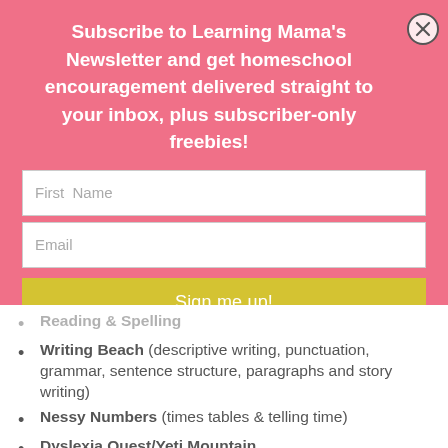Subscribe to Learning Mama's Newsletter and get homeschool encouragement delivered straight to your inbox, plus subscriber-only freebies!
[Figure (other): Newsletter subscription form with First Name input, Email input, and Sign me up! button on a pink background with a close (X) button]
Reading & Spelling
Writing Beach (descriptive writing, punctuation, grammar, sentence structure, paragraphs and story writing)
Nessy Numbers (times tables & telling time)
Dyslexia Quest/Yeti Mountain